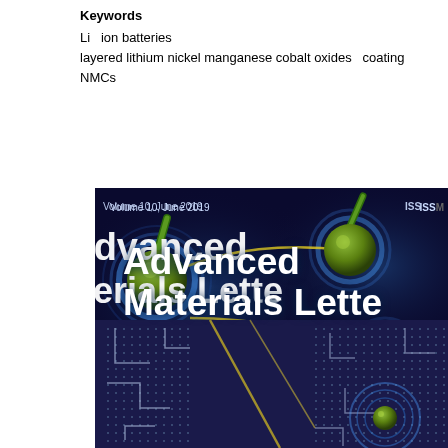Keywords
Li   ion batteries
layered lithium nickel manganese cobalt oxides   coating
NMCs
[Figure (illustration): Cover image of Advanced Materials Letters journal, Volume 10, June 2019, showing scientific illustration with molecular/material structures on a dark blue background with text 'Advanced Materials Lette' visible]